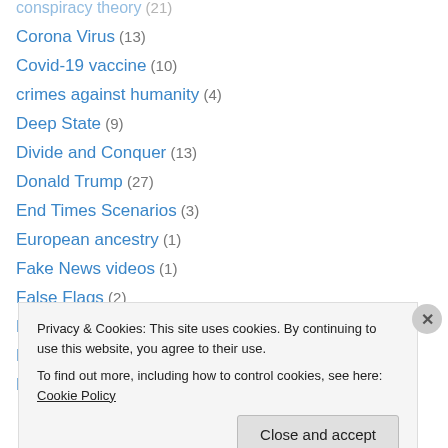conspiracy theory (21)
Corona Virus (13)
Covid-19 vaccine (10)
crimes against humanity (4)
Deep State (9)
Divide and Conquer (13)
Donald Trump (27)
End Times Scenarios (3)
European ancestry (1)
Fake News videos (1)
False Flags (2)
FBI (1)
Fiction Novel (4)
First Amendment (18)
Privacy & Cookies: This site uses cookies. By continuing to use this website, you agree to their use.
To find out more, including how to control cookies, see here: Cookie Policy